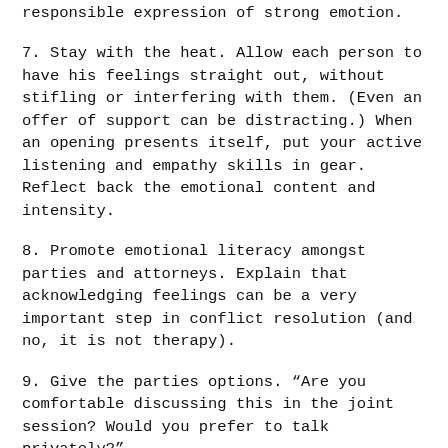responsible expression of strong emotion.
7. Stay with the heat. Allow each person to have his feelings straight out, without stifling or interfering with them. (Even an offer of support can be distracting.) When an opening presents itself, put your active listening and empathy skills in gear. Reflect back the emotional content and intensity.
8. Promote emotional literacy amongst parties and attorneys. Explain that acknowledging feelings can be a very important step in conflict resolution (and no, it is not therapy).
9. Give the parties options. “Are you comfortable discussing this in the joint session? Would you prefer to talk privately?”
10. Give the attorneys options. “It would be helpful